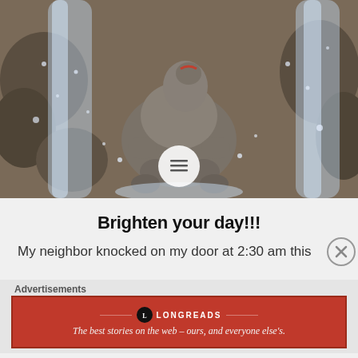[Figure (photo): Baby hippo or rhinoceros playing in waterfall/water spray, with rocky background. Animal appears to be sitting under cascading water with feet raised.]
Brighten your day!!!
My neighbor knocked on my door at 2:30 am this
Advertisements
[Figure (logo): Longreads advertisement banner: red background with Longreads logo and tagline 'The best stories on the web – ours, and everyone else's.']